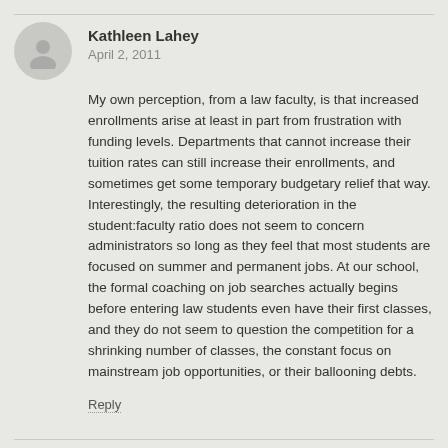Kathleen Lahey
April 2, 2011
My own perception, from a law faculty, is that increased enrollments arise at least in part from frustration with funding levels. Departments that cannot increase their tuition rates can still increase their enrollments, and sometimes get some temporary budgetary relief that way. Interestingly, the resulting deterioration in the student:faculty ratio does not seem to concern administrators so long as they feel that most students are focused on summer and permanent jobs. At our school, the formal coaching on job searches actually begins before entering law students even have their first classes, and they do not seem to question the competition for a shrinking number of classes, the constant focus on mainstream job opportunities, or their ballooning debts.
Reply